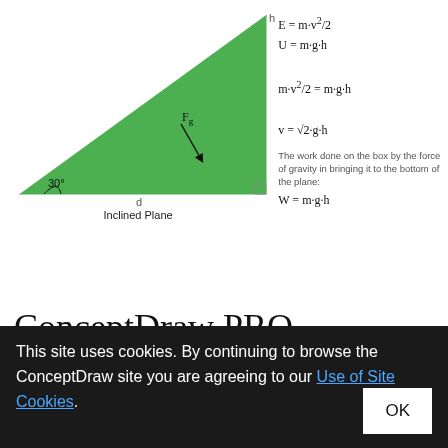[Figure (schematic): Inclined plane diagram showing a green right-triangle ramp with a box on it. Angle 30° at bottom left, Fg force arrow pointing down from box, height h on right side, distance d along base. Caption: Inclined Plane.]
Inclined Plane
The work done on the box by the force of gravity in bringing it to the bottom of the plane:
ConceptDraw PRO diagramming and vector drawing software extended with Physics solution from the Science and Education area is the best for creating: physics diagrams, pictures which describe
This site uses cookies. By continuing to browse the ConceptDraw site you are agreeing to our Use of Site Cookies.